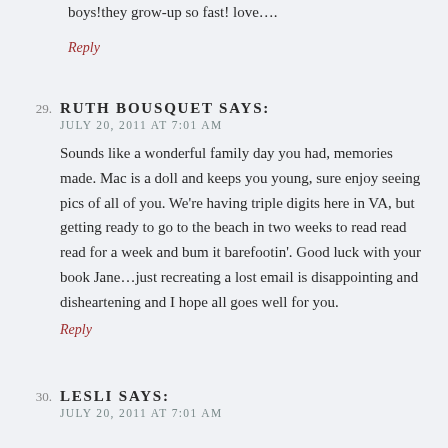boys!they grow-up so fast! love….
Reply
29. RUTH BOUSQUET SAYS:
JULY 20, 2011 AT 7:01 AM

Sounds like a wonderful family day you had, memories made. Mac is a doll and keeps you young, sure enjoy seeing pics of all of you. We're having triple digits here in VA, but getting ready to go to the beach in two weeks to read read read for a week and bum it barefootin'. Good luck with your book Jane...just recreating a lost email is disappointing and disheartening and I hope all goes well for you.

Reply
30. LESLI SAYS:
JULY 20, 2011 AT 7:01 AM